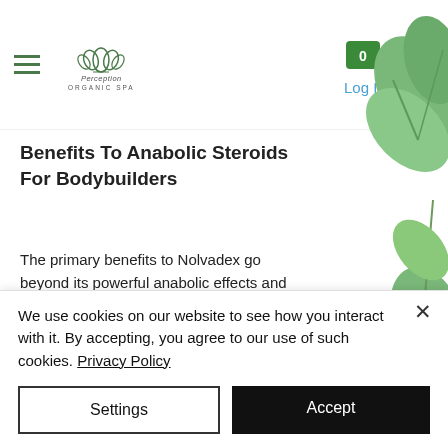Perception Organic Spa — navigation header with hamburger menu, logo, cart (0), Log In
Benefits To Anabolic Steroids For Bodybuilders
The primary benefits to Nolvadex go beyond its powerful anabolic effects and overall effectiveness. Many bodybuilders take Nolvadex as an the anabolic steroid cycle therapy drug, either post cycle or post cycle on after-work drinks. In those cases, it provides anabolic steroid effects in a dosage
We use cookies on our website to see how you interact with it. By accepting, you agree to our use of such cookies. Privacy Policy
Settings
Accept